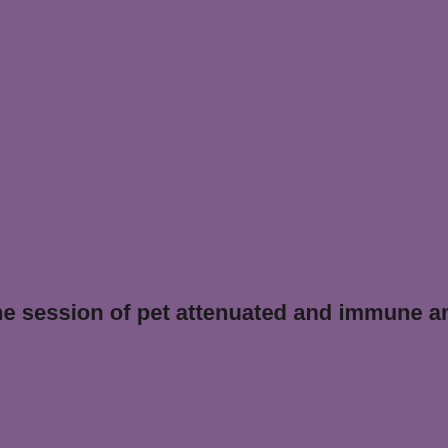ne session of pet attenuated and immune ambiguous hou